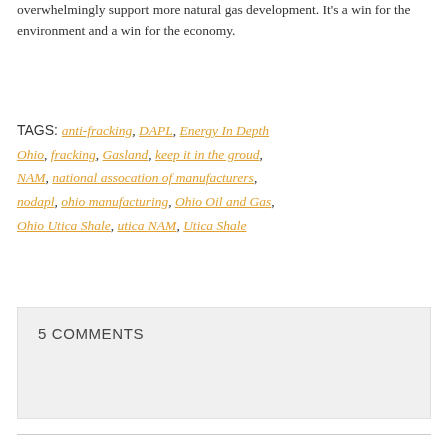overwhelmingly support more natural gas development. It's a win for the environment and a win for the economy.
TAGS: anti-fracking, DAPL, Energy In Depth, Ohio, fracking, Gasland, keep it in the groud, NAM, national assocation of manufacturers, nodapl, ohio manufacturing, Ohio Oil and Gas, Ohio Utica Shale, utica NAM, Utica Shale
5 COMMENTS